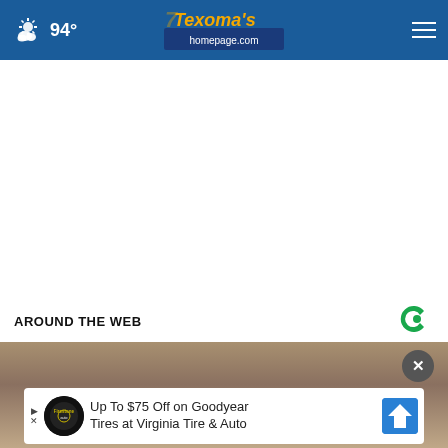Texoma's Homepage.com — 94° weather header with navigation
[Figure (screenshot): White advertisement space area below header]
AROUND THE WEB
[Figure (photo): Partially visible photo of an elderly person's head, blurred background]
[Figure (infographic): Ad banner overlay: Up To $75 Off on Goodyear Tires at Virginia Tire & Auto with close button]